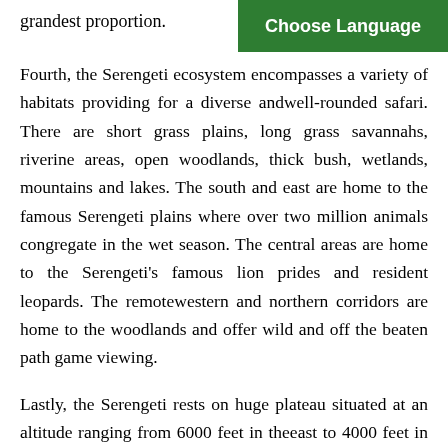grandest proportion.
[Figure (other): Green 'Choose Language' button in top right corner]
Fourth, the Serengeti ecosystem encompasses a variety of habitats providing for a diverse andwell-rounded safari. There are short grass plains, long grass savannahs, riverine areas, open woodlands, thick bush, wetlands, mountains and lakes. The south and east are home to the famous Serengeti plains where over two million animals congregate in the wet season. The central areas are home to the Serengeti's famous lion prides and resident leopards. The remotewestern and northern corridors are home to the woodlands and offer wild and off the beaten path game viewing.
Lastly, the Serengeti rests on huge plateau situated at an altitude ranging from 6000 feet in theeast to 4000 feet in the west. This means that the strong equatorial sun is tempered and corridors are ideal for comfortable game viewing. The weather is generally pleasant and temperatures rarely exceeds 85 degrees.